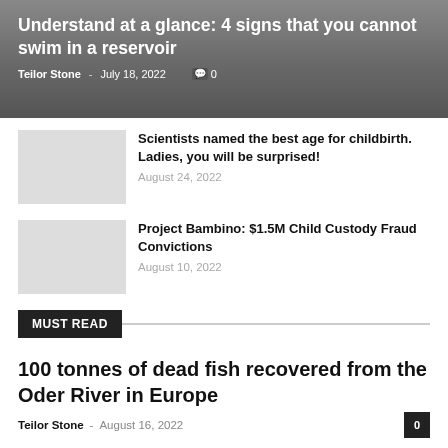Understand at a glance: 4 signs that you cannot swim in a reservoir
Teilor Stone - July 18, 2022  0
Scientists named the best age for childbirth. Ladies, you will be surprised!
August 24, 2022
Project Bambino: $1.5M Child Custody Fraud Convictions
August 10, 2022
MUST READ
100 tonnes of dead fish recovered from the Oder River in Europe
Teilor Stone - August 16, 2022  0